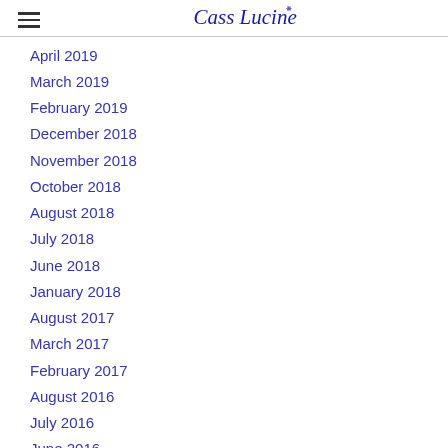Cass Lucine [logo/brand]
April 2019
March 2019
February 2019
December 2018
November 2018
October 2018
August 2018
July 2018
June 2018
January 2018
August 2017
March 2017
February 2017
August 2016
July 2016
June 2016
March 2016